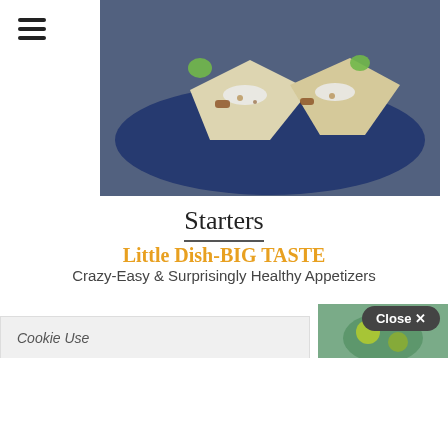[Figure (photo): Food photo showing appetizers (tacos/wraps) on a blue plate]
Starters
Little Dish-BIG TASTE
Crazy-Easy & Surprisingly Healthy Appetizers
[Figure (screenshot): Cookie Use notice box and secondary food photo partially visible behind popup]
Close ×
Hi! Welcome to our site. How can we help you?
Click for support
[Figure (infographic): Social sharing bar with Facebook, LinkedIn, Twitter, Pinterest, Email, SMS buttons]